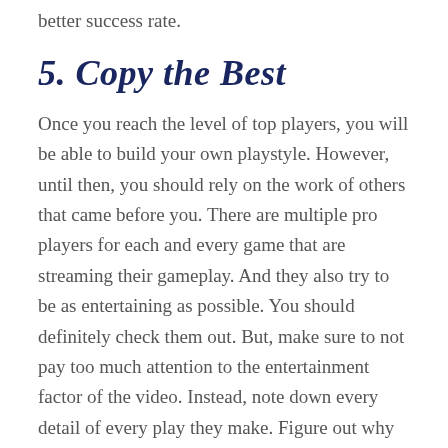better success rate.
5. Copy the Best
Once you reach the level of top players, you will be able to build your own playstyle. However, until then, you should rely on the work of others that came before you. There are multiple pro players for each and every game that are streaming their gameplay. And they also try to be as entertaining as possible. You should definitely check them out. But, make sure to not pay too much attention to the entertainment factor of the video. Instead, note down every detail of every play they make. Figure out why what they do works,